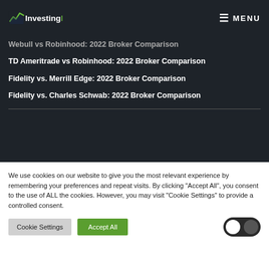InvestingIQ — MENU
Webull vs Robinhood: 2022 Broker Comparison
TD Ameritrade vs Robinhood: 2022 Broker Comparison
Fidelity vs. Merrill Edge: 2022 Broker Comparison
Fidelity vs. Charles Schwab: 2022 Broker Comparison
We use cookies on our website to give you the most relevant experience by remembering your preferences and repeat visits. By clicking "Accept All", you consent to the use of ALL the cookies. However, you may visit "Cookie Settings" to provide a controlled consent.